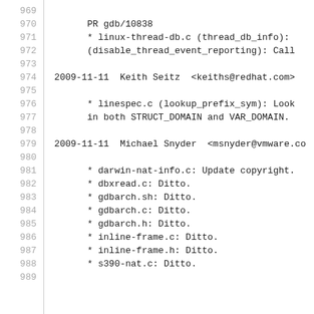969
970         PR gdb/10838
971         * linux-thread-db.c (thread_db_info):
972         (disable_thread_event_reporting): Call
973
974   2009-11-11  Keith Seitz  <keiths@redhat.com>
975
976         * linespec.c (lookup_prefix_sym): Look
977         in both STRUCT_DOMAIN and VAR_DOMAIN.
978
979   2009-11-11  Michael Snyder  <msnyder@vmware.co
980
981         * darwin-nat-info.c: Update copyright.
982         * dbxread.c: Ditto.
983         * gdbarch.sh: Ditto.
984         * gdbarch.c: Ditto.
985         * gdbarch.h: Ditto.
986         * inline-frame.c: Ditto.
987         * inline-frame.h: Ditto.
988         * s390-nat.c: Ditto.
989